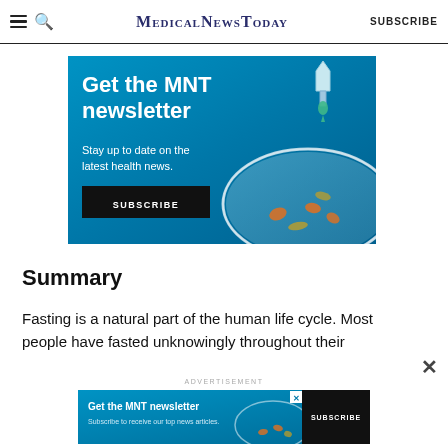MedicalNewsToday | SUBSCRIBE
[Figure (illustration): MNT newsletter subscription advertisement banner with blue background, petri dish illustration, dropper, text 'Get the MNT newsletter', 'Stay up to date on the latest health news.' and a black SUBSCRIBE button]
Summary
Fasting is a natural part of the human life cycle. Most people have fasted unknowingly throughout their
[Figure (illustration): Bottom advertisement bar for MNT newsletter with blue background, text 'Get the MNT newsletter', 'Subscribe to receive our top news articles.' and a black SUBSCRIBE button, with a close X icon]